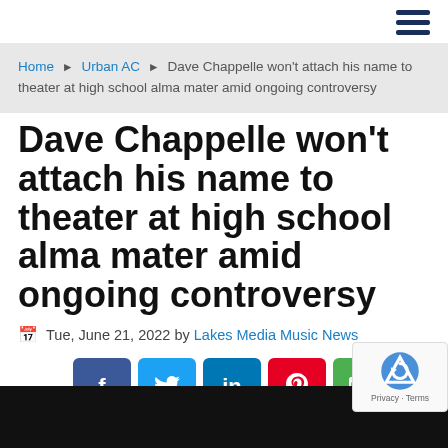≡ (hamburger menu)
Home ▶ Urban AC ▶ Dave Chappelle won't attach his name to theater at high school alma mater amid ongoing controversy
Dave Chappelle won't attach his name to theater at high school alma mater amid ongoing controversy
Tue, June 21, 2022 by Lakes Media Music News
[Figure (other): Social share buttons: Facebook (blue), Twitter (cyan), LinkedIn (blue), Pinterest (red), Email (green)]